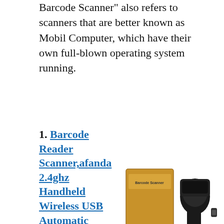Barcode Scanner" also refers to scanners that are better known as Mobil Computer, which have their own full-blown operating system running.
1. Barcode Reader Scanner,afanda 2.4ghz Handheld Wireless USB Automatic Barcode Scanner (2.4ghz Wireless & Usb2.0 Wired) USB Bar-code Handscanner, Storage of up to
[Figure (photo): Product photo of a barcode scanner (handheld wireless USB barcode scanner in black and yellow) next to its cardboard box packaging labeled 'Barcode Scanner', with a small USB dongle receiver also shown.]